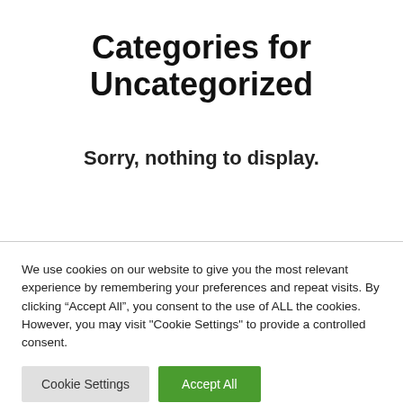Categories for Uncategorized
Sorry, nothing to display.
We use cookies on our website to give you the most relevant experience by remembering your preferences and repeat visits. By clicking “Accept All”, you consent to the use of ALL the cookies. However, you may visit "Cookie Settings" to provide a controlled consent.